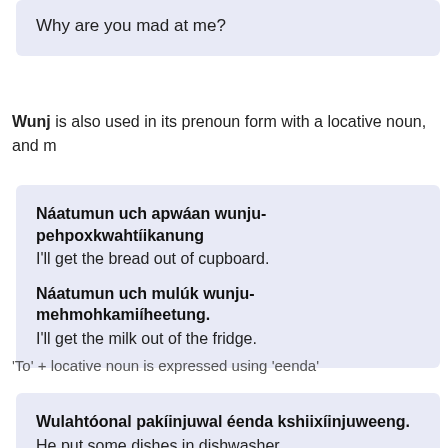Why are you mad at me?
Wunj is also used in its prenoun form with a locative noun, and m
Náatumun uch apwáan wunju-pehpoxkwahtíikanung
I'll get the bread out of cupboard.

Náatumun uch mulúk wunju-mehmohkamiiheetung.
I'll get the milk out of the fridge.
'To' + locative noun is expressed using 'eenda'
Wulahtóonal pakíinjuwal éenda kshiixíinjuweeng.
He put some dishes in dishwasher.